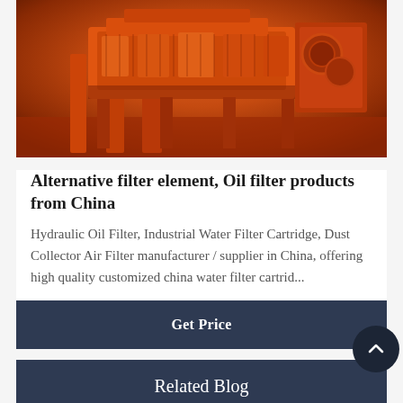[Figure (photo): Orange industrial machine equipment in a factory setting, photographed from below/side angle showing heavy machinery with orange painted metal components.]
Alternative filter element, Oil filter products from China
Hydraulic Oil Filter, Industrial Water Filter Cartridge, Dust Collector Air Filter manufacturer / supplier in China, offering high quality customized china water filter cartrid...
Get Price
Related Blog
high quality shandong manufacturer great harge ball mill